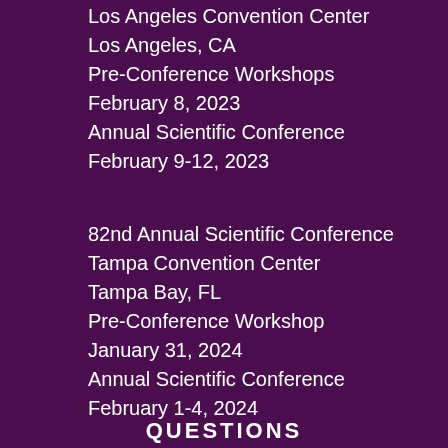Los Angeles Convention Center
Los Angeles, CA
Pre-Conference Workshops
February 8, 2023
Annual Scientific Conference
February 9-12, 2023
82nd Annual Scientific Conference
Tampa Convention Center
Tampa Bay, FL
Pre-Conference Workshop
January 31, 2024
Annual Scientific Conference
February 1-4, 2024
QUESTIONS